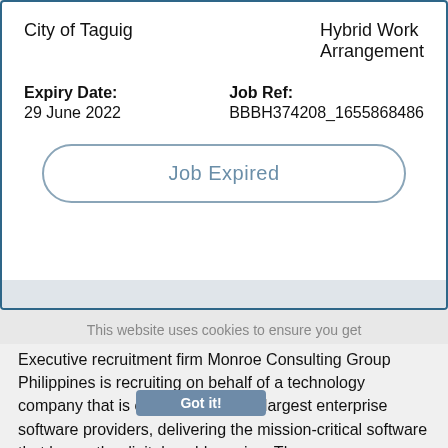City of Taguig
Hybrid Work Arrangement
Expiry Date:
29 June 2022
Job Ref:
BBBH374208_1655868486
Job Expired
This website uses cookies to ensure you get the best experience on our website.
Read More
Executive recruitment firm Monroe Consulting Group Philippines is recruiting on behalf of a technology company that is one of the world's largest enterprise software providers, delivering the mission-critical software that keeps the digital world running. They